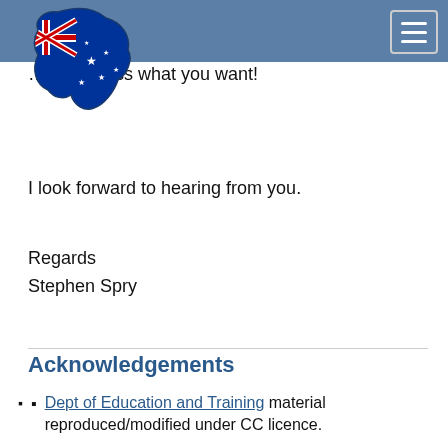[Australian flag map header bar with hamburger menu]
…re to g…ss what you want!
I look forward to hearing from you.
Regards
Stephen Spry
Acknowledgements
Dept of Education and Training material reproduced/modified under CC licence.
O*NET Web Services
Job Outlook
123RF
Thanks to the many, many other websites linked to within this section 🙂